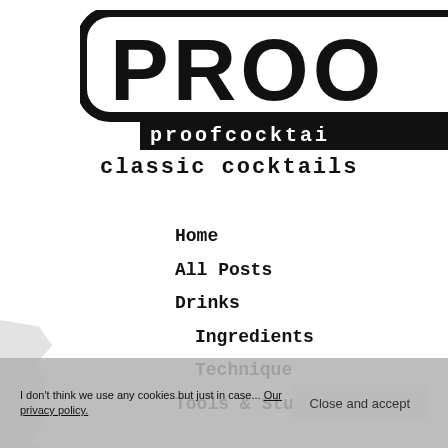[Figure (logo): PROOF cocktails logo — large distressed/grunge black block letters 'PROO' (with rest cut off) inside a rounded rectangle stamp border, with 'proofcocktai' text below in bold courier font on black background (partially cropped)]
classic cocktails
Home
All Posts
Drinks
Ingredients
Technique
Tools & Stuff
I don't think we use any cookies but just in case... Our privacy policy.
Close and accept